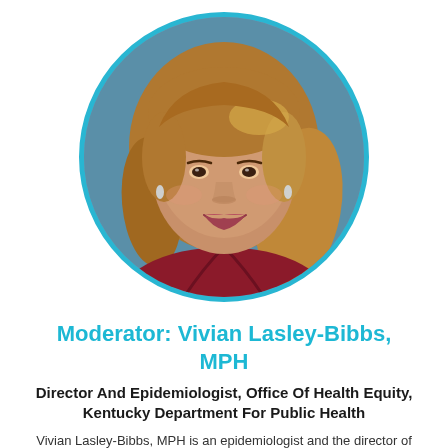[Figure (photo): Circular headshot photo of Vivian Lasley-Bibbs, a woman with medium-length auburn/golden-brown hair, wearing a dark red/maroon top, smiling, with a teal/blue circular border frame against a white background.]
Moderator: Vivian Lasley-Bibbs, MPH
Director And Epidemiologist, Office Of Health Equity, Kentucky Department For Public Health
Vivian Lasley-Bibbs, MPH is an epidemiologist and the director of...